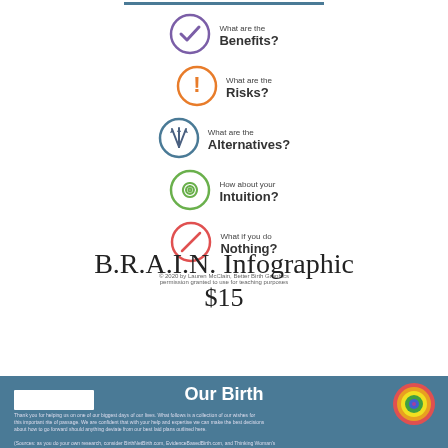[Figure (infographic): B.R.A.I.N. infographic showing 5 icons with labels: Benefits (purple checkmark circle), Risks (orange exclamation circle), Alternatives (blue needle circle), Intuition (green spiral circle), Nothing (red no-sign circle)]
B.R.A.I.N. Infographic
$15
[Figure (infographic): Our Birth footer banner with white rectangle, circular rainbow logo on right, and small descriptive text below]